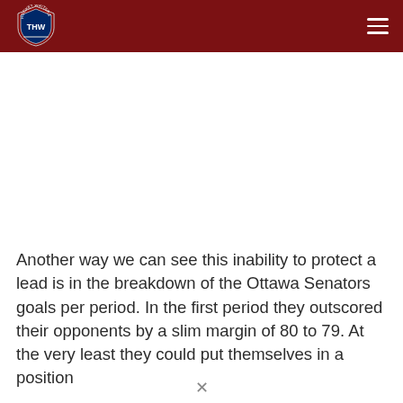THW (The Hockey Writers)
Another way we can see this inability to protect a lead is in the breakdown of the Ottawa Senators goals per period. In the first period they outscored their opponents by a slim margin of 80 to 79. At the very least they could put themselves in a position